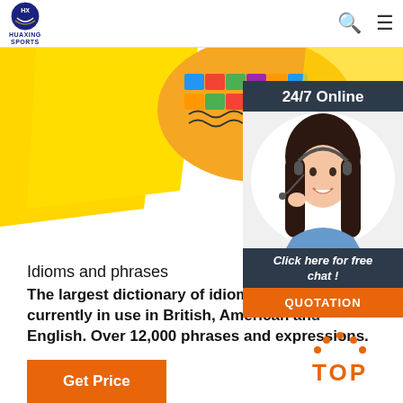[Figure (logo): Huaxing Sports logo - circular blue and white emblem with text HUAXING SPORTS below]
[Figure (photo): Yellow fabric and colorful patterned fabric/headwear against white background]
[Figure (infographic): 24/7 Online chat widget with dark background header, photo of smiling woman with headset, 'Click here for free chat!' CTA text, and orange QUOTATION button]
Idioms and phrases
The largest dictionary of idioms and phrases currently in use in British, American and English. Over 12,000 phrases and expressions.
Get Price
[Figure (other): Orange TOP navigation button with dots above and bold text TOP]